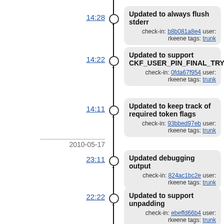14:28 — Updated to always flush stderr — check-in: b8b081a8e4 user: rkeene tags: trunk
14:22 — Updated to support CKF_USER_PIN_FINAL_TRY — check-in: 0fda67f954 user: rkeene tags: trunk
14:11 — Updated to keep track of required token flags — check-in: 93bbed97eb user: rkeene tags: trunk
2010-05-17
23:11 — Updated debugging output — check-in: 824ac1bc2e user: rkeene tags: trunk
22:22 — Updated to support unpadding — check-in: ebeffd66b4 user: rkeene tags: trunk
21:50 — Corrected issue with sign/decrypt buffer sizes — check-in: 9aa715ce7f user: rkeene tags: trunk
21:39 — Updated to deal with reads of unknown size